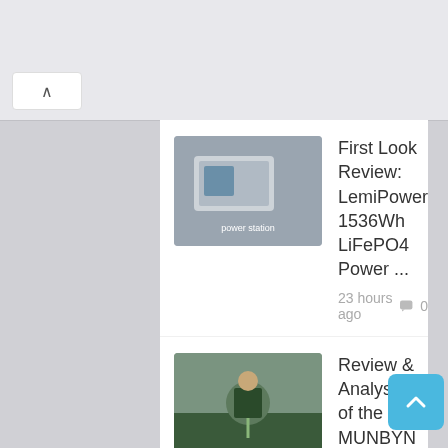First Look Review: LemiPower 1536Wh LiFePO4 Power ... 23 hours ago  0
Review & Analysis of the MUNBYN Laser ... 1 month ago  0
HPRT MT810 Review: Wireless Paper-Inside Portable Printer 1 month ago  0
VANKYO Leisure E30 Review: VANKYO'S Best